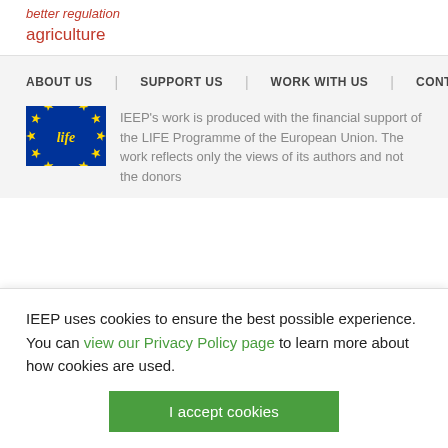better regulation
agriculture
ABOUT US | SUPPORT US | WORK WITH US | CONTACT US
[Figure (logo): EU LIFE Programme logo — blue rectangle with yellow stars in a circle and 'life' written in cursive yellow text]
IEEP's work is produced with the financial support of the LIFE Programme of the European Union. The work reflects only the views of its authors and not the donors
IEEP uses cookies to ensure the best possible experience. You can view our Privacy Policy page to learn more about how cookies are used.
I accept cookies